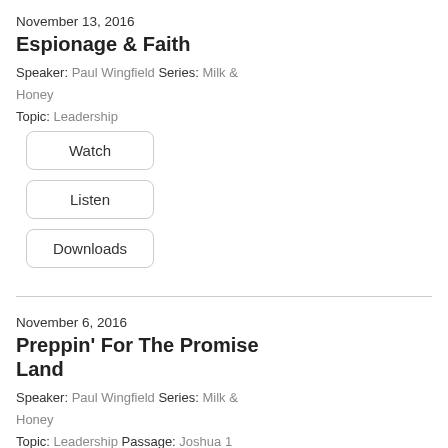November 13, 2016
Espionage & Faith
Speaker: Paul Wingfield Series: Milk & Honey
Topic: Leadership
November 6, 2016
Preppin' For The Promise Land
Speaker: Paul Wingfield Series: Milk & Honey
Topic: Leadership Passage: Joshua 1
October 30, 2016
Make Jesus Famous - "Our Suffering"